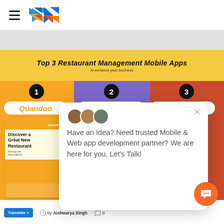[Figure (logo): Hamburger menu icon and blue/orange arrow logo in page header]
[Figure (infographic): Top 3 Restaurant Management Mobile Apps infographic showing Quandoo (#1, yellow), SquaredMenu (#2, purple), and Toast (#3, red/orange) with app screenshots]
[Figure (screenshot): Chat popup overlay reading: Have an Idea? Need trusted Mobile & Web app development partner? We are here for you, Let's Talk!]
by Aishwarya Singh
0